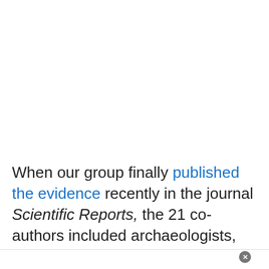When our group finally published the evidence recently in the journal Scientific Reports, the 21 co-authors included archaeologists, geologists,
[Figure (other): NFL Shop advertisement banner with red jersey image, shop now button, and blue arrow navigation button. Text: NFL Shop, Free shipping on orders over $25, www.nflshop.com]